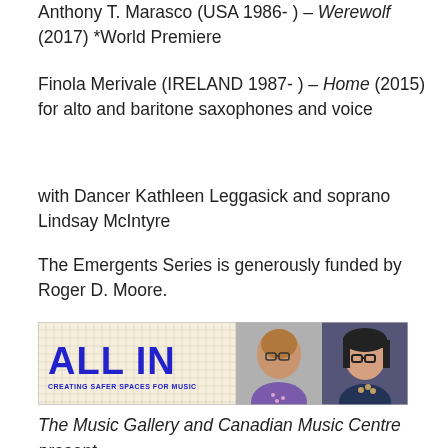Anthony T. Marasco (USA 1986- ) – Werewolf (2017) *World Premiere
Finola Merivale (IRELAND 1987- ) – Home (2015) for alto and baritone saxophones and voice
with Dancer Kathleen Leggasick and soprano Lindsay McIntyre
The Emergents Series is generously funded by Roger D. Moore.
[Figure (photo): ALL IN: Creating Safer Spaces for Music banner with two portrait photos of individuals wearing glasses]
The Music Gallery and Canadian Music Centre present